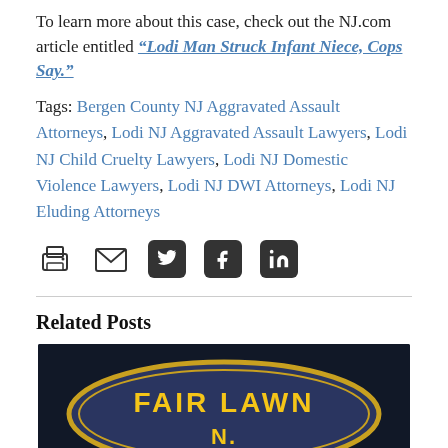To learn more about this case, check out the NJ.com article entitled “Lodi Man Struck Infant Niece, Cops Say.”
Tags: Bergen County NJ Aggravated Assault Attorneys, Lodi NJ Aggravated Assault Lawyers, Lodi NJ Child Cruelty Lawyers, Lodi NJ Domestic Violence Lawyers, Lodi NJ DWI Attorneys, Lodi NJ Eluding Attorneys
[Figure (infographic): Social sharing icons: print, email, Twitter, Facebook, LinkedIn]
Related Posts
[Figure (photo): Photo of a Fair Lawn NJ police badge/patch on dark background]